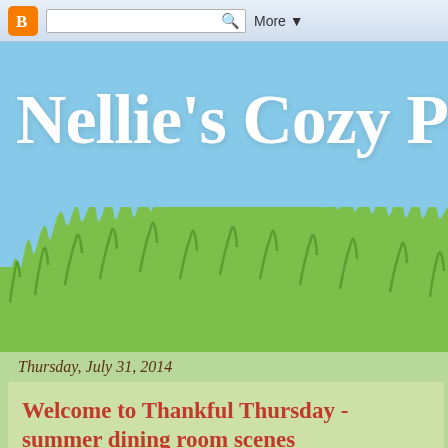Blogger toolbar with search box and More button
Nellie's Cozy Plac
Thursday, July 31, 2014
Welcome to Thankful Thursday - summer dining room scenes
[Figure (photo): Partial photo of a dining room showing wooden furniture and glass doors/windows]